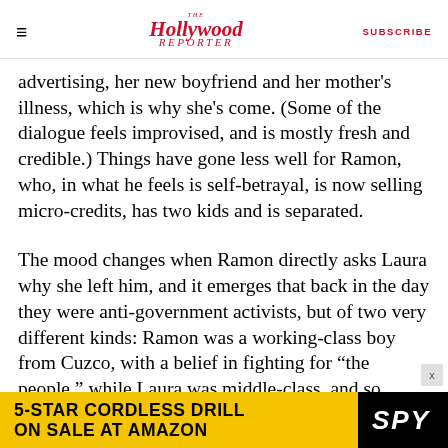The Hollywood Reporter | SUBSCRIBE
advertising, her new boyfriend and her mother's illness, which is why she's come. (Some of the dialogue feels improvised, and is mostly fresh and credible.) Things have gone less well for Ramon, who, in what he feels is self-betrayal, is now selling micro-credits, has two kids and is separated.
The mood changes when Ramon directly asks Laura why she left him, and it emerges that back in the day they were anti-government activists, but of two very different kinds: Ramon was a working-class boy from Cuzco, with a belief in fighting for “the people,” while Laura was middle-class, and so presumably
[Figure (infographic): Advertisement banner: 5-STAR CORDLESS DRILL ON SALE AT AMAZON / SPY logo, black and yellow background]